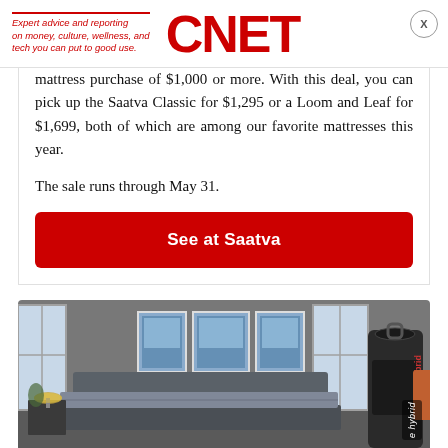Expert advice and reporting on money, culture, wellness, and tech you can put to good use. | CNET
mattress purchase of $1,000 or more. With this deal, you can pick up the Saatva Classic for $1,295 or a Loom and Leaf for $1,699, both of which are among our favorite mattresses this year.
The sale runs through May 31.
See at Saatva
[Figure (photo): Bedroom scene with a mattress on a bed frame, bedside lamp, three framed art prints on the wall, windows with natural light, and a rolled-up mattress bag labeled 'e hybrid' in the foreground right.]